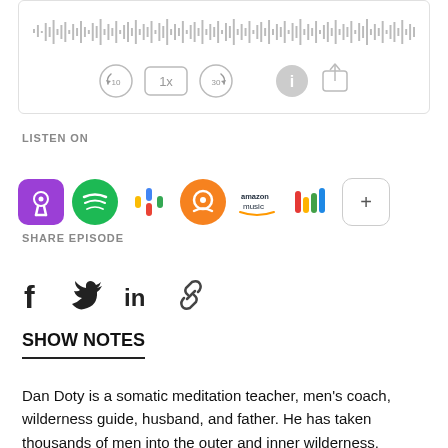[Figure (other): Podcast audio player widget with waveform visualization, skip-back 10s button, 1x speed button, skip-forward 30s button, info button, and share button]
LISTEN ON
[Figure (other): Row of podcast platform logos: Apple Podcasts, Spotify, Google Podcasts, Overcast, Amazon Music, Podchaser, plus button]
SHARE EPISODE
[Figure (other): Social share icons: Facebook (f), Twitter (bird), LinkedIn (in), link/chain icon]
SHOW NOTES
Dan Doty is a somatic meditation teacher, men's coach, wilderness guide, husband, and father. He has taken thousands of men into the outer and inner wilderness, guiding them